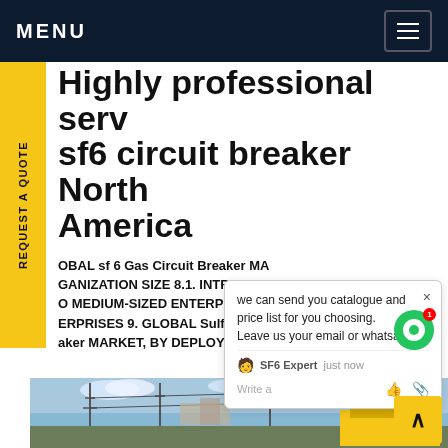MENU
Highly professional serv sf6 circuit breaker North America
OBAL sf 6 Gas Circuit Breaker MAR GANIZATION SIZE 8.1. INTRODUCTI O MEDIUM-SIZED ENTERPRISES (SM ERPRISES 9. GLOBAL Sulfr hex aker MARKET, BY DEPLOYMENTGe rcuit
we can send you catalogue and price list for you choosing.
Leave us your email or whatsapp .
SF6 Expert   just now
Write a
[Figure (photo): Electrical substation with high-voltage equipment, pylons, and overhead lines against a blue sky. Yellow construction equipment visible.]
REQUEST A QUOTE